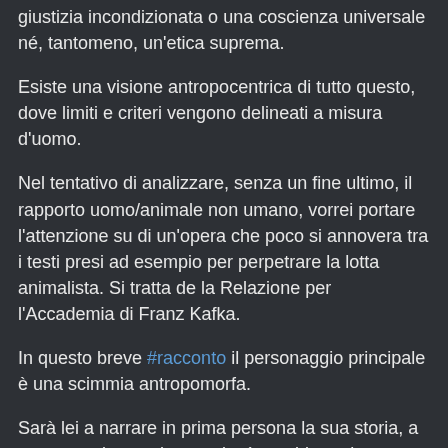...esiste una verità assoluta, come non v'è una giustizia incondizionata o una coscienza universale né, tantomeno, un'etica suprema.
Esiste una visione antropocentrica di tutto questo, dove limiti e criteri vengono delineati a misura d'uomo.
Nel tentativo di analizzare, senza un fine ultimo, il rapporto uomo/animale non umano, vorrei portare l'attenzione su di un'opera che poco si annovera tra i testi presi ad esempio per perpetrare la lotta animalista. Si tratta de la Relazione per l'Accademia di Franz Kafka.
In questo breve #racconto il personaggio principale è una scimmia antropomorfa.
Sarà lei a narrare in prima persona la sua storia, a raccontarci come la sua vita è cambiata, da animale allo stato brado a relatore accademico. [...]